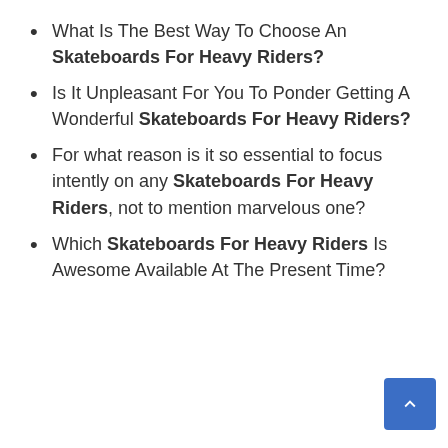What Is The Best Way To Choose An Skateboards For Heavy Riders?
Is It Unpleasant For You To Ponder Getting A Wonderful Skateboards For Heavy Riders?
For what reason is it so essential to focus intently on any Skateboards For Heavy Riders, not to mention marvelous one?
Which Skateboards For Heavy Riders Is Awesome Available At The Present Time?